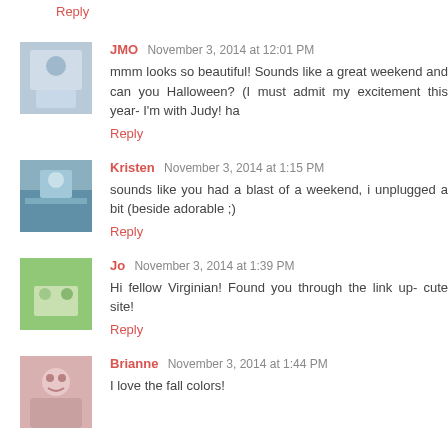Reply
JMO   November 3, 2014 at 12:01 PM
mmm looks so beautiful! Sounds like a great weekend and can you Halloween? (I must admit my excitement this year- I'm with Judy! ha
Reply
Kristen   November 3, 2014 at 1:15 PM
sounds like you had a blast of a weekend, i unplugged a bit (beside adorable ;)
Reply
Jo   November 3, 2014 at 1:39 PM
Hi fellow Virginian! Found you through the link up- cute site!
Reply
Brianne   November 3, 2014 at 1:44 PM
I love the fall colors!